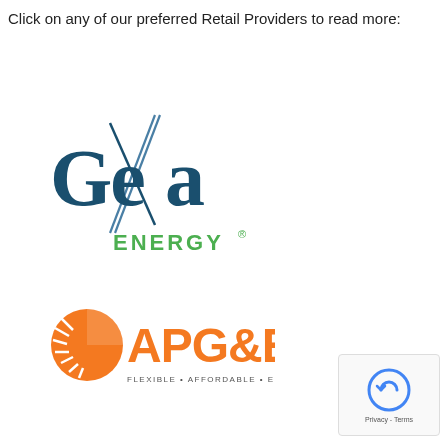Click on any of our preferred Retail Providers to read more:
[Figure (logo): Gexa Energy logo — dark teal serif text 'Gexa' with a diagonal slash graphic, and green text 'ENERGY' with registered trademark symbol below]
[Figure (logo): APG&E logo — orange sun/rays circle icon on left, bold orange text 'APG&E', tagline 'FLEXIBLE • AFFORDABLE • ENERGY' in small text below]
[Figure (other): reCAPTCHA badge widget in bottom-right corner showing Google reCAPTCHA icon and Privacy - Terms text]